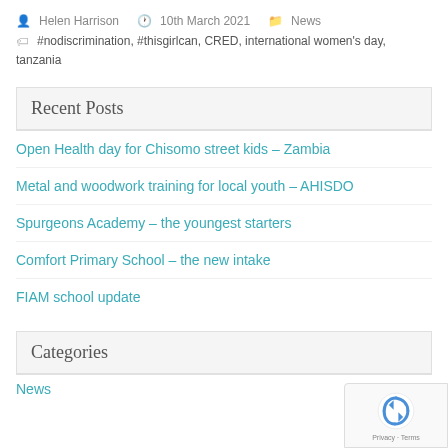Helen Harrison  10th March 2021  News
#nodiscrimination, #thisgirlcan, CRED, international women's day, tanzania
Recent Posts
Open Health day for Chisomo street kids – Zambia
Metal and woodwork training for local youth – AHISDO
Spurgeons Academy – the youngest starters
Comfort Primary School – the new intake
FIAM school update
Categories
News